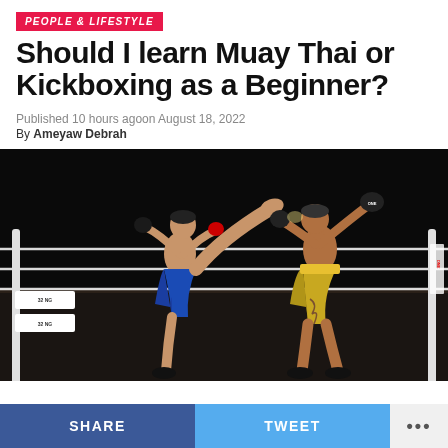PEOPLE & LIFESTYLE
Should I learn Muay Thai or Kickboxing as a Beginner?
Published 10 hours agoon August 18, 2022
By Ameyaw Debrah
[Figure (photo): Two fighters in a Muay Thai/kickboxing match in a ring. One fighter in blue shorts is executing a high kick to the other fighter in gold shorts who is wearing MMA gloves. The match takes place in a professional boxing ring with white ropes and sponsor logos.]
SHARE   TWEET   ...